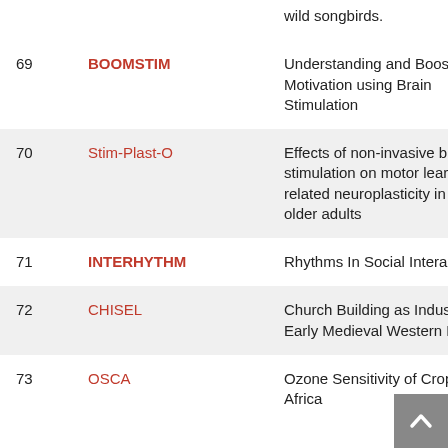| # | Name | Description |
| --- | --- | --- |
|  |  | wild songbirds. |
| 69 | BOOMSTIM | Understanding and Boosting Motivation using Brain Stimulation |
| 70 | Stim-Plast-O | Effects of non-invasive brain stimulation on motor learning-related neuroplasticity in healthy older adults |
| 71 | INTERHYTHM | Rhythms In Social Interaction |
| 72 | CHISEL | Church Building as Industry in Early Medieval Western Europe |
| 73 | OSCA | Ozone Sensitivity of Crops in Africa |